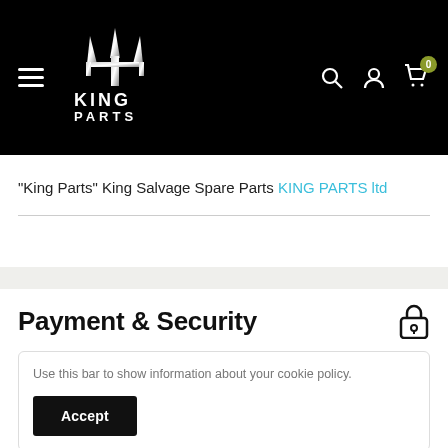King Parts header with logo, hamburger menu, search, account, and cart icons
"King Parts" King Salvage Spare Parts KING PARTS ltd
Payment & Security
Use this bar to show information about your cookie policy.
Your payment information is processed securely. We do not store